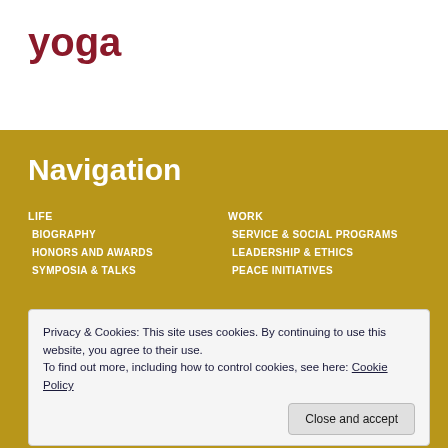yoga
Navigation
LIFE
BIOGRAPHY
HONORS AND AWARDS
SYMPOSIA & TALKS
WORK
SERVICE & SOCIAL PROGRAMS
LEADERSHIP & ETHICS
PEACE INITIATIVES
WISDOM
VIDEOS
BLOG
CONTACT
Privacy & Cookies: This site uses cookies. By continuing to use this website, you agree to their use. To find out more, including how to control cookies, see here: Cookie Policy